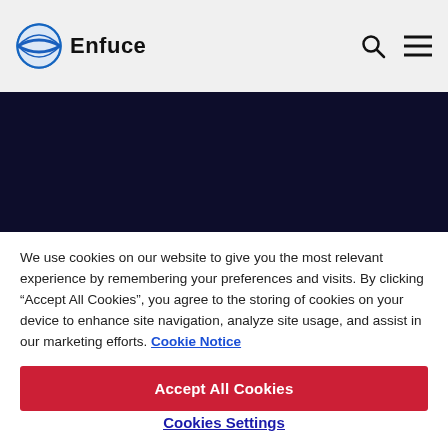Enfuce
[Figure (other): Dark navy hero banner / background image area]
We use cookies on our website to give you the most relevant experience by remembering your preferences and visits. By clicking “Accept All Cookies”, you agree to the storing of cookies on your device to enhance site navigation, analyze site usage, and assist in our marketing efforts. Cookie Notice
Accept All Cookies
Cookies Settings